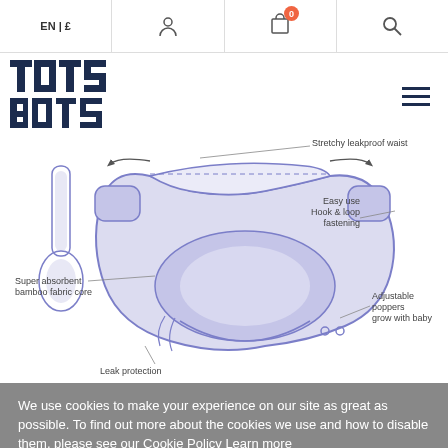EN | £  [user icon]  [cart icon, 0]  [search icon]
[Figure (logo): Tots Bots logo in dark navy block font]
[Figure (illustration): Engineering-style diagram of a reusable cloth nappy/diaper showing: stretchy leakproof waist (top arrow), easy use hook & loop fastening (right), super absorbent bamboo fabric core (left), adjustable poppers grow with baby (bottom right), leak protection (bottom). Also shows separate booster insert on left side.]
We use cookies to make your experience on our site as great as possible. To find out more about the cookies we use and how to disable them, please see our Cookie Policy Learn more
I AGREE